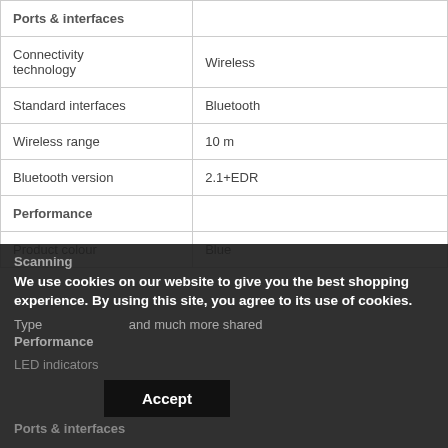|  |  |
| --- | --- |
| Ports & interfaces |  |
| Connectivity technology | Wireless |
| Standard interfaces | Bluetooth |
| Wireless range | 10 m |
| Bluetooth version | 2.1+EDR |
| Performance |  |
| Product colour | Blue |
Scanning
We use cookies on our website to give you the best shopping experience. By using this site, you agree to its use of cookies.
Type                          and much more shared
Performance
LED indicators
Accept
Ports & interfaces